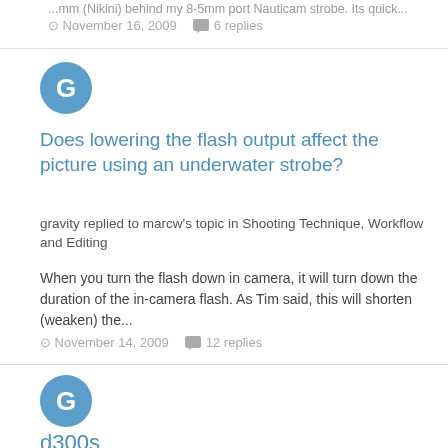...mm (Nikini) behind my 8-5mm port Nauticam strobe. Its quick...
November 16, 2009   6 replies
[Figure (illustration): Blue circular avatar with white letter G]
Does lowering the flash output affect the picture using an underwater strobe?
gravity replied to marcw's topic in Shooting Technique, Workflow and Editing
When you turn the flash down in camera, it will turn down the duration of the in-camera flash. As Tim said, this will shorten (weaken) the...
November 14, 2009   12 replies
[Figure (illustration): Blue circular avatar with white letter G]
d300s
gravity replied to benkelmer's topic in Photography Gear and Technique